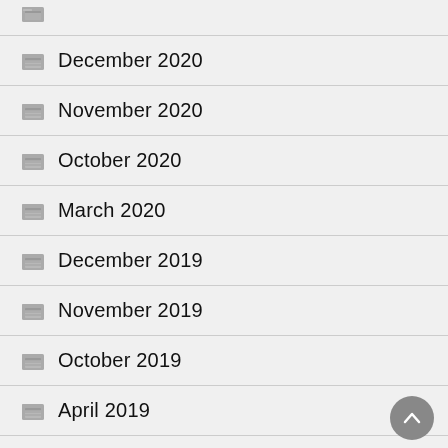December 2020
November 2020
October 2020
March 2020
December 2019
November 2019
October 2019
April 2019